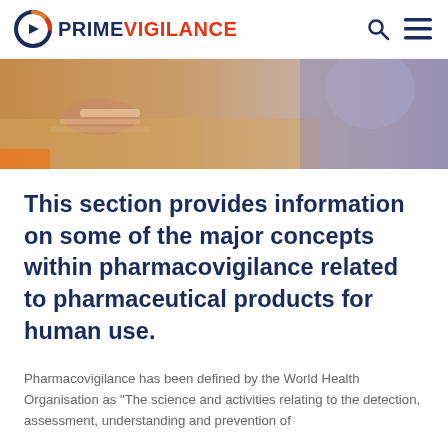PRIMEVIGILANCE
[Figure (photo): A person writing on paper at a desk, warm-toned hero image banner]
This section provides information on some of the major concepts within pharmacovigilance related to pharmaceutical products for human use.
Pharmacovigilance has been defined by the World Health Organisation as "The science and activities relating to the detection, assessment, understanding and prevention of